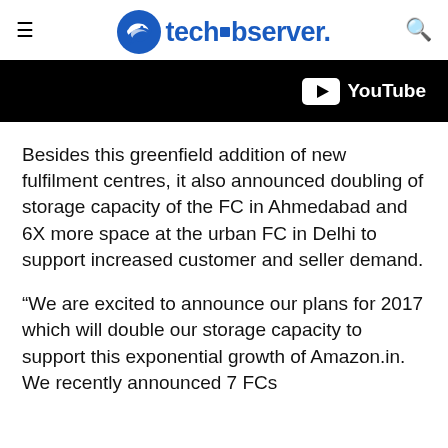techobserver.
[Figure (screenshot): YouTube banner — black background with YouTube logo and text on the right side]
Besides this greenfield addition of new fulfilment centres, it also announced doubling of storage capacity of the FC in Ahmedabad and 6X more space at the urban FC in Delhi to support increased customer and seller demand.
“We are excited to announce our plans for 2017 which will double our storage capacity to support this exponential growth of Amazon.in. We recently announced 7 FCs